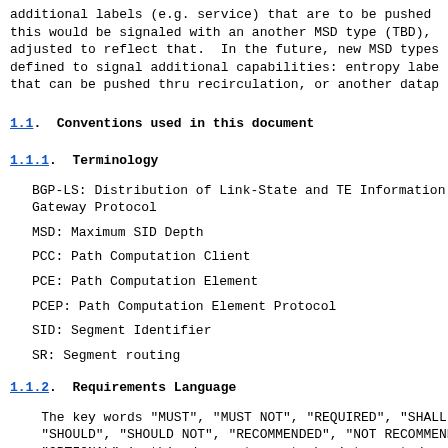additional labels (e.g. service) that are to be pushed
this would be signaled with an another MSD type (TBD),
adjusted to reflect that.  In the future, new MSD types
defined to signal additional capabilities: entropy labe
that can be pushed thru recirculation, or another datap
1.1.  Conventions used in this document
1.1.1.  Terminology
BGP-LS: Distribution of Link-State and TE Information u
Gateway Protocol
MSD: Maximum SID Depth
PCC: Path Computation Client
PCE: Path Computation Element
PCEP: Path Computation Element Protocol
SID: Segment Identifier
SR: Segment routing
1.1.2.  Requirements Language
The key words "MUST", "MUST NOT", "REQUIRED", "SHALL",
"SHOULD", "SHOULD NOT", "RECOMMENDED", "NOT RECOMMENDED
"OPTIONAL" in this document are to be interpreted as de